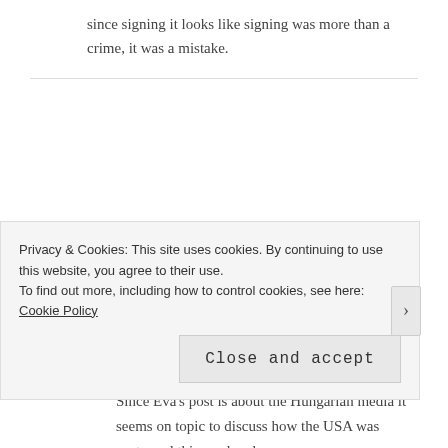since signing it looks like signing was more than a crime, it was a mistake.
Istvan
January 18, 2015 at 10:18 am
Since Eva's post is about the Hungarian media it seems on topic to discuss how the USA was portrayed this weekend
Privacy & Cookies: This site uses cookies. By continuing to use this website, you agree to their use.
To find out more, including how to control cookies, see here: Cookie Policy
Close and accept